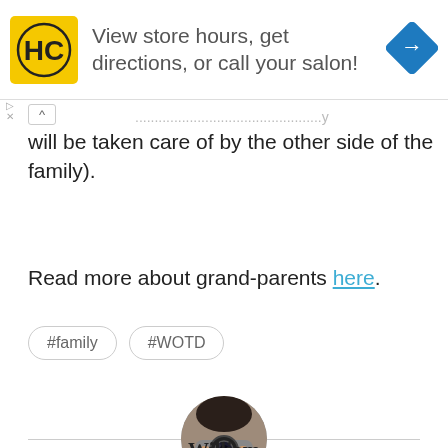[Figure (other): Advertisement banner for HC Salon with logo, text 'View store hours, get directions, or call your salon!', and a blue diamond navigation arrow icon on the right.]
will be taken care of by the other side of the family).
Read more about grand-parents here.
#family
#WOTD
[Figure (photo): Circular profile photo of a person holding a camera up to their face, obscuring their face.]
William